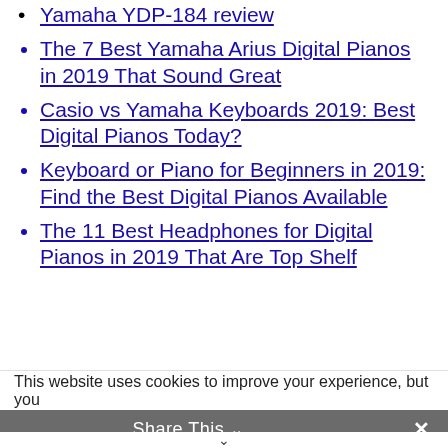Yamaha YDP-184 review
The 7 Best Yamaha Arius Digital Pianos in 2019 That Sound Great
Casio vs Yamaha Keyboards 2019: Best Digital Pianos Today?
Keyboard or Piano for Beginners in 2019: Find the Best Digital Pianos Available
The 11 Best Headphones for Digital Pianos in 2019 That Are Top Shelf
This website uses cookies to improve your experience, but you
Share This ∨  ✕